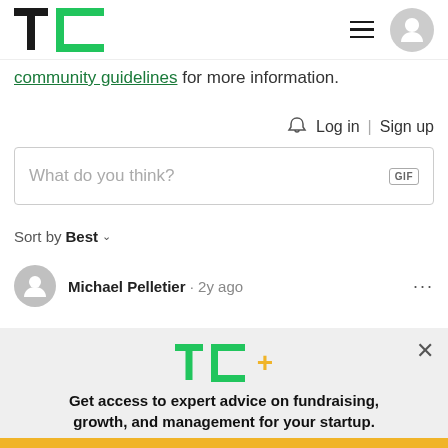TechCrunch logo, hamburger menu, user avatar
community guidelines for more information.
Log in | Sign up
What do you think?
Sort by Best
Michael Pelletier · 2y ago
[Figure (infographic): TechCrunch TC+ promotional overlay with text: Get access to expert advice on fundraising, growth, and management for your startup. EXPLORE NOW button.]